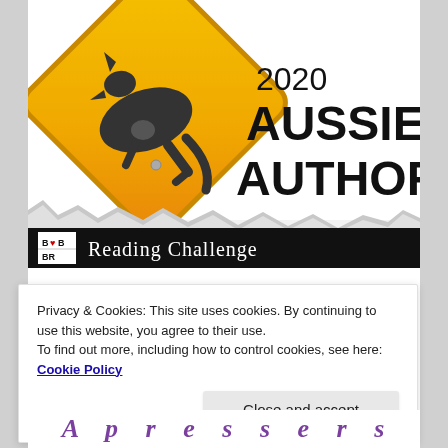[Figure (illustration): 2020 Aussie Author Reading Challenge badge. Features a yellow diamond road sign with a kangaroo silhouette on a torn paper background. Bottom bar is black with 'BBR' logo and 'Reading Challenge' text in white serif font.]
Privacy & Cookies: This site uses cookies. By continuing to use this website, you agree to their use.
To find out more, including how to control cookies, see here: Cookie Policy
Close and accept